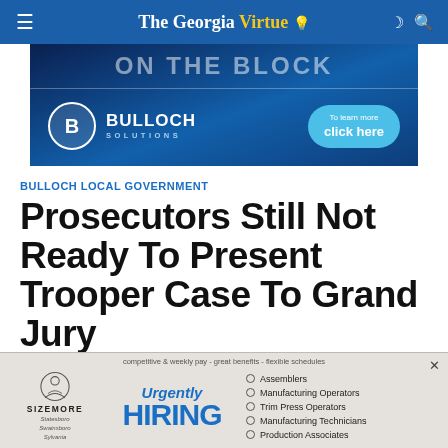The Georgia Virtue
[Figure (infographic): Bulloch Solutions advertisement banner with dark blue background, text 'ON THE BLOCK', B logo, and 'click here' button]
BULLOCH LOCAL GOVERNMENT
Prosecutors Still Not Ready To Present Trooper Case To Grand Jury
[Figure (infographic): Sizemore hiring advertisement overlay with Urgently HIRING text, list of job openings including Assemblers, Manufacturing Operators, Trim Press Operators, Manufacturing Technicians, Production Associates]